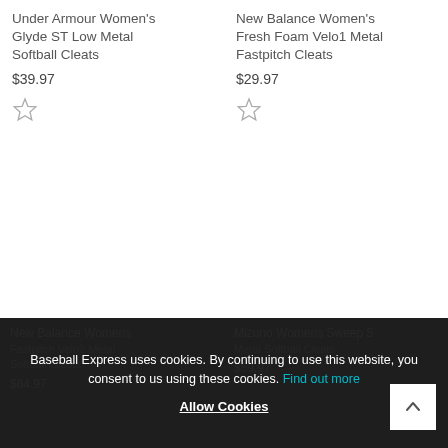Under Armour Women's Glyde ST Low Metal Softball Cleats
$39.97
New Balance Women's Fresh Foam Velo1 Metal Fastpitch Cleats
$29.97
New Balance Womens Fastpitch Velo2 Metal Softball Cleats
$64.97
Mizuno Womens Sweep 5 Metal Softball Cleats
$59.97
Baseball Express uses cookies. By continuing to use this website, you consent to us using these cookies. Find out more
Allow Cookies